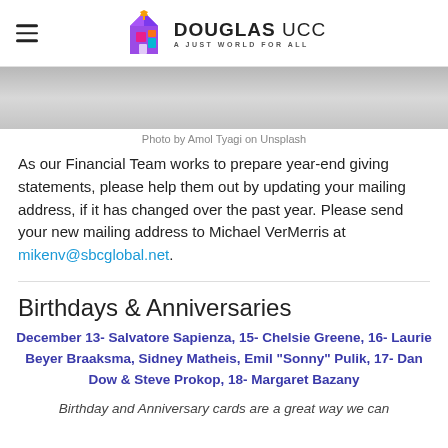DOUGLAS UCC — A JUST WORLD FOR ALL
[Figure (photo): Gray gradient banner image (photo by Amol Tyagi on Unsplash)]
Photo by Amol Tyagi on Unsplash
As our Financial Team works to prepare year-end giving statements, please help them out by updating your mailing address, if it has changed over the past year. Please send your new mailing address to Michael VerMerris at mikenv@sbcglobal.net.
Birthdays & Anniversaries
December 13- Salvatore Sapienza, 15- Chelsie Greene, 16- Laurie Beyer Braaksma, Sidney Matheis, Emil "Sonny" Pulik, 17- Dan Dow & Steve Prokop, 18- Margaret Bazany
Birthday and Anniversary cards are a great way we can